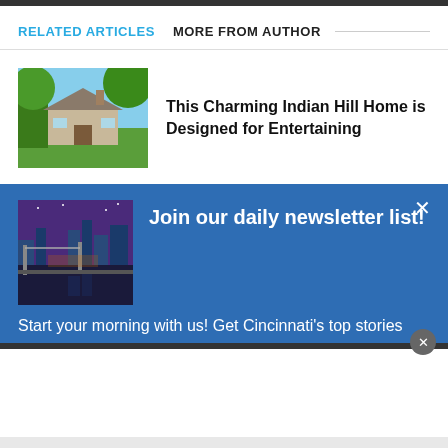RELATED ARTICLES   MORE FROM AUTHOR
[Figure (photo): Exterior photo of a charming house with green trees and lawn]
This Charming Indian Hill Home is Designed for Entertaining
[Figure (photo): Nighttime photo of a bridge and city skyline reflected in water]
Join our daily newsletter list!
Start your morning with us! Get Cincinnati's top stories